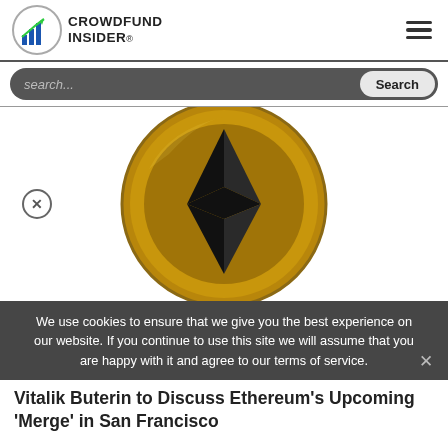CROWDFUND INSIDER
search...
[Figure (illustration): Gold Ethereum coin with black ETH diamond logo on white background, with circular close (X) button overlay on left side]
We use cookies to ensure that we give you the best experience on our website. If you continue to use this site we will assume that you are happy with it and agree to our terms of service.
Vitalik Buterin to Discuss Ethereum's Upcoming 'Merge' in San Francisco